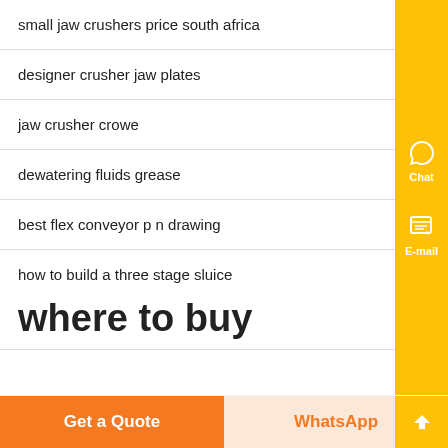small jaw crushers price south africa
designer crusher jaw plates
jaw crusher crowe
dewatering fluids grease
best flex conveyor p n drawing
how to build a three stage sluice
powder mill impact mfg
where to buy grinding mill in
Get a Quote
WhatsApp